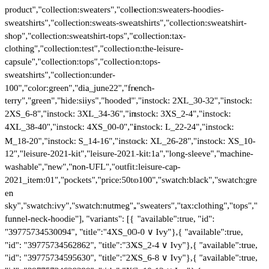product","collection:sweaters","collection:sweaters-hoodies-sweatshirts","collection:sweats-sweatshirts","collection:sweatshirt-shop","collection:sweatshirt-tops","collection:tax-clothing","collection:test","collection:the-leisure-capsule","collection:tops","collection:tops-sweatshirts","collection:under-100","color:green","dia_june22","french-terry","green","hide:siiys","hooded","instock: 2XL_30-32","instock: 2XS_6-8","instock: 3XL_34-36","instock: 3XS_2-4","instock: 4XL_38-40","instock: 4XS_00-0","instock: L_22-24","instock: M_18-20","instock: S_14-16","instock: XL_26-28","instock: XS_10-12","leisure-2021-kit","leisure-2021-kit:1a","long-sleeve","machine-washable","new","non-UFL","outfit:leisure-cap-2021_item:01","pockets","price:50to100","swatch:black","swatch:green sky","swatch:ivy","swatch:nutmeg","sweaters","tax:clothing","tops","funnel-neck-hoodie"], "variants": [{ "available":true, "id": "39775734530094", "title":"4XS_00-0 ∨ Ivy"},{ "available":true, "id": "39775734562862", "title":"3XS_2-4 ∨ Ivy"},{ "available":true, "id": "39775734595630", "title":"2XS_6-8 ∨ Ivy"},{ "available":true, "id": "39775734628398", "title":"XS_10-12 ∨ Ivy"},{ "available":true, "id": "39775734661166", "title":"S_14-16 ∨ Ivy"},{ "available":true, "id": "39775734693934", "title":"M_18-20 ∨ Ivy"},{ "available":true, "id": "39775734726702", "title":"L_22-24 ∨ Ivy"},{"available":true,